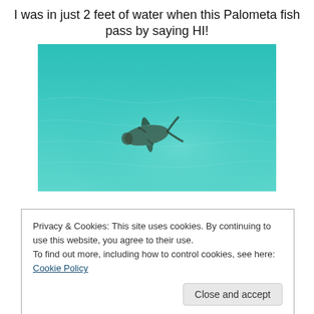I was in just 2 feet of water when this Palometa fish pass by saying HI!
[Figure (photo): Underwater photo of a Palometa fish swimming in shallow turquoise/teal water, viewed from above. The fish is visible in the lower-center portion of the image with its distinctive elongated fins.]
Privacy & Cookies: This site uses cookies. By continuing to use this website, you agree to their use.
To find out more, including how to control cookies, see here: Cookie Policy
Close and accept